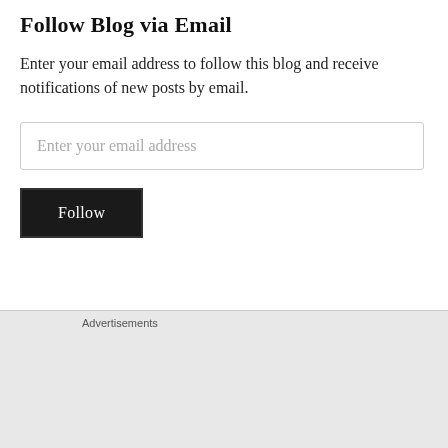Follow Blog via Email
Enter your email address to follow this blog and receive notifications of new posts by email.
Enter your email address
Follow
Advertisements
[Figure (screenshot): DuckDuckGo advertisement banner with orange background. Text reads: 'Search, browse, and email with more privacy. All in One Free App' with DuckDuckGo logo and phone image on the right.]